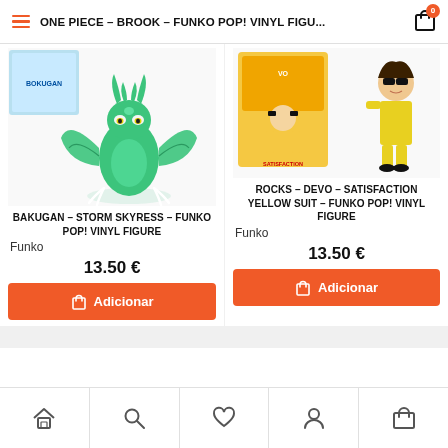ONE PIECE – BROOK – FUNKO POP! VINYL FIGU...
[Figure (photo): Bakugan Storm Skyress teal dragon Funko Pop vinyl figure with wings and horns, plus a product box in top-left corner]
BAKUGAN – STORM SKYRESS – FUNKO POP! VINYL FIGURE
Funko
13.50 €
Adicionar
[Figure (photo): Rocks – Devo – Satisfaction Yellow Suit Funko Pop vinyl figure in yellow suit with sunglasses, with product box]
ROCKS – DEVO – SATISFACTION YELLOW SUIT – FUNKO POP! VINYL FIGURE
Funko
13.50 €
Adicionar
Home | Search | Wishlist | Account | Cart